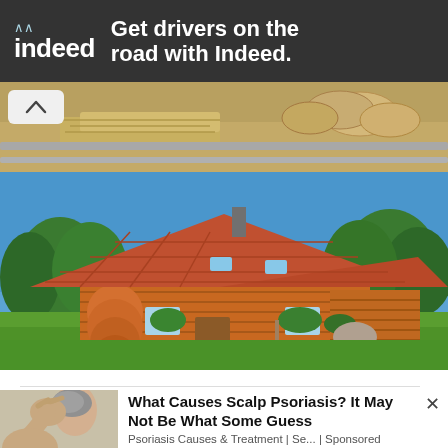[Figure (screenshot): Indeed job ad banner with dark background, Indeed logo on left and text 'Get drivers on the road with Indeed.' on right]
[Figure (photo): Partial photo of wooden logs/timber construction material at top]
[Figure (photo): Log cabin house with terracotta tile roof, set in green lawn with trees under blue sky]
[Figure (photo): Advertisement image of person scratching scalp]
What Causes Scalp Psoriasis? It May Not Be What Some Guess
Psoriasis Causes & Treatment | Se... | Sponsored